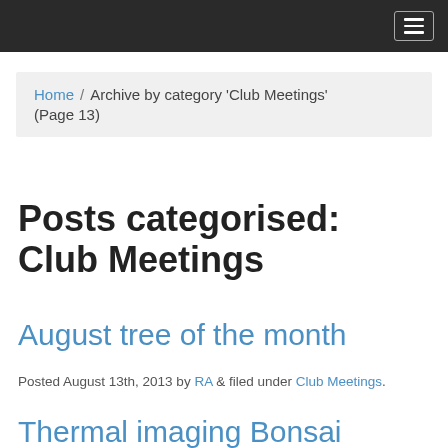Navigation header with hamburger menu
Home / Archive by category 'Club Meetings' (Page 13)
Posts categorised: Club Meetings
August tree of the month
Posted August 13th, 2013 by RA & filed under Club Meetings.
Thermal imaging Bonsai